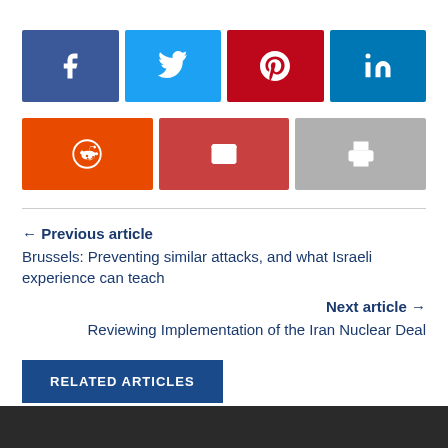[Figure (infographic): Social share buttons: Facebook (dark blue), Twitter (light blue), Pinterest (dark red), LinkedIn (blue), Reddit (orange), Email (red), Print (gray)]
← Previous article
Brussels: Preventing similar attacks, and what Israeli experience can teach
Next article →
Reviewing Implementation of the Iran Nuclear Deal
RELATED ARTICLES
[Figure (photo): Dark photo strip at bottom of page showing people]